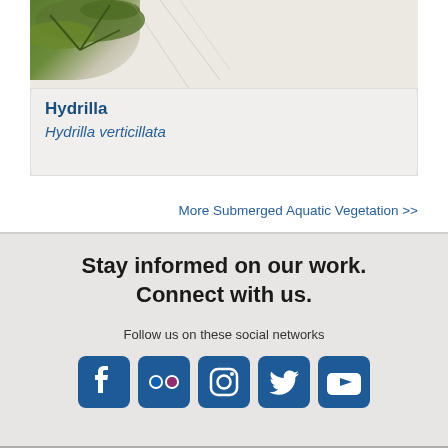[Figure (photo): Photo of Hydrilla aquatic plant with green leaves against a light background]
Hydrilla
Hydrilla verticillata
More Submerged Aquatic Vegetation >>
Stay informed on our work. Connect with us.
Follow us on these social networks
[Figure (infographic): Row of five social media icons: Facebook, Flickr, Instagram, Twitter, YouTube]